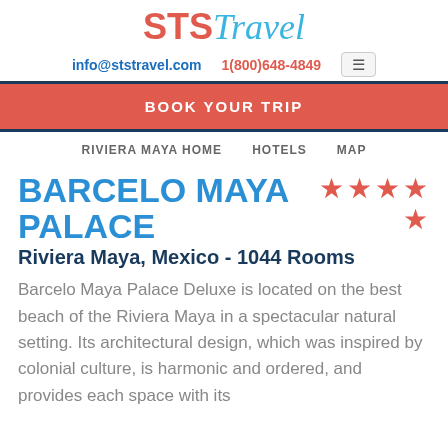STS Travel
info@ststravel.com   1(800)648-4849
BOOK YOUR TRIP
RIVIERA MAYA HOME   HOTELS   MAP
BARCELO MAYA PALACE
Riviera Maya, Mexico - 1044 Rooms
Barcelo Maya Palace Deluxe is located on the best beach of the Riviera Maya in a spectacular natural setting. Its architectural design, which was inspired by colonial culture, is harmonic and ordered, and provides each space with its